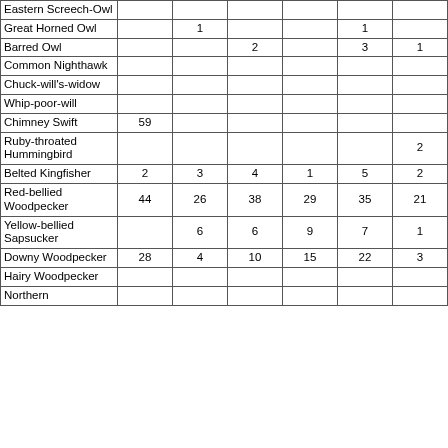| Eastern Screech-Owl |  |  |  |  |  |  |  |  |
| Great Horned Owl |  | 1 |  |  | 1 |  |  |  |
| Barred Owl |  |  | 2 |  | 3 | 1 | 2 |  |
| Common Nighthawk |  |  |  |  |  |  |  |  |
| Chuck-will's-widow |  |  |  |  |  |  |  |  |
| Whip-poor-will |  |  |  |  |  |  |  |  |
| Chimney Swift | 59 |  |  |  |  |  | 1 | 10 |
| Ruby-throated Hummingbird |  |  |  |  |  | 2 | 3 | 2 |
| Belted Kingfisher | 2 | 3 | 4 | 1 | 5 | 2 |  |  |
| Red-bellied Woodpecker | 44 | 26 | 38 | 29 | 35 | 21 | 32 | 32 |
| Yellow-bellied Sapsucker |  | 6 | 6 | 9 | 7 | 1 |  |  |
| Downy Woodpecker | 28 | 4 | 10 | 15 | 22 | 3 | 7 | 14 |
| Hairy Woodpecker |  |  |  |  |  |  |  | 3 |
| Northern |  |  |  |  |  |  |  |  |